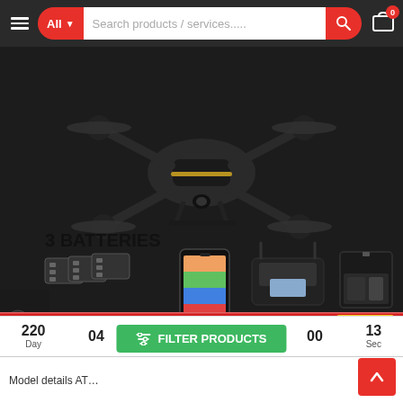All ▼  Search products / services.....  [cart icon] 0
[Figure (photo): E88 Pro foldable quadcopter drone with 4K camera shown with 3 batteries, smartphone app, remote controller, and carrying case. Text overlay reads '3 BATTERIES' and 'Hyper Sense™ 4K Camera']
220 Day   04   00   13 Sec
≡ FILTER PRODUCTS